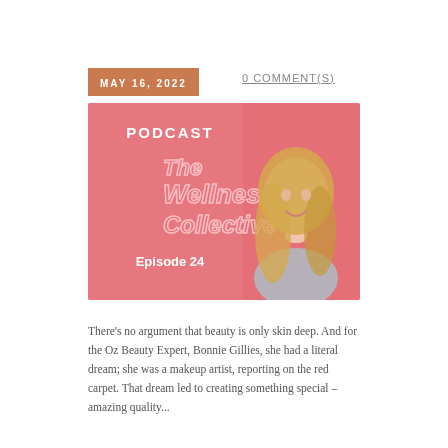MAY 16, 2022
0 COMMENT(S)
[Figure (photo): Podcast cover image for The Wellness Collective Episode 24, featuring a smiling blonde woman against a pink brick wall background, with text 'PODCAST', 'The Wellness Collective', and 'Episode 24']
There's no argument that beauty is only skin deep.  And for the Oz Beauty Expert, Bonnie Gillies, she had a literal dream; she was a makeup artist, reporting on the red carpet.  That dream led to creating something special – amazing quality...